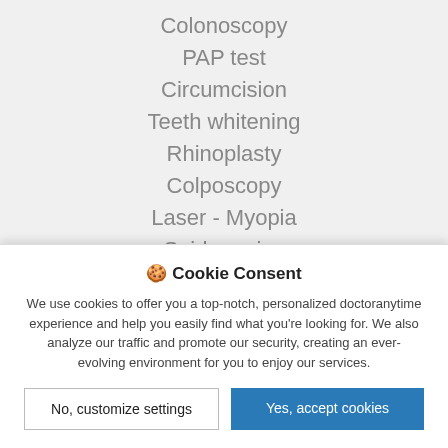Colonoscopy
PAP test
Circumcision
Teeth whitening
Rhinoplasty
Colposcopy
Laser - Myopia
Spider veins
Heart Triplex
🍪 Cookie Consent
We use cookies to offer you a top-notch, personalized doctoranytime experience and help you easily find what you're looking for. We also analyze our traffic and promote our security, creating an ever-evolving environment for you to enjoy our services.